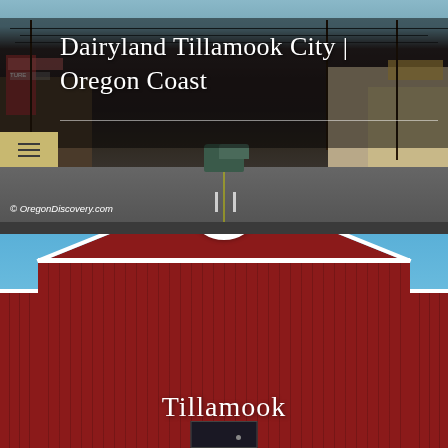[Figure (photo): Street scene photograph of downtown Tillamook City, Oregon Coast. Shows a road with cars, utility poles and wires, storefronts on both sides. Has a dark overlay with white title text 'Dairyland Tillamook City | Oregon Coast' overlaid. A tan/gold hamburger menu button is visible on the left. Copyright watermark reads '© OregonDiscovery.com' at bottom left.]
Dairyland Tillamook City | Oregon Coast
© OregonDiscovery.com
[Figure (photo): Photograph of the Tillamook County Creamery Association building — a large red barn-style structure with white trim against a blue sky. A circular logo reading 'Tillamook County Creamery Assn, Farmer Owned, Since 1909' is mounted on the front peak. The word 'Tillamook' appears in white text on the facade above the entrance doors.]